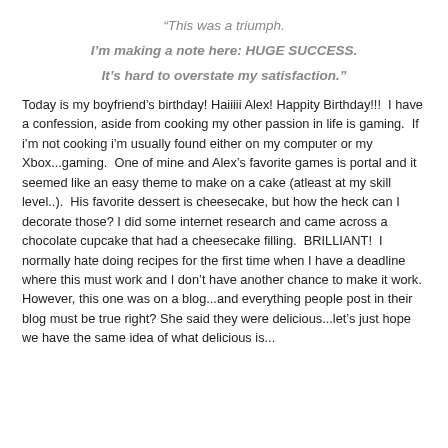“This was a triumph.

I’m making a note here: HUGE SUCCESS.

It’s hard to overstate my satisfaction.”
Today is my boyfriend’s birthday! Haiiiii Alex! Happity Birthday!!!  I have a confession, aside from cooking my other passion in life is gaming.  If i’m not cooking i’m usually found either on my computer or my Xbox...gaming.  One of mine and Alex’s favorite games is portal and it seemed like an easy theme to make on a cake (atleast at my skill level..).  His favorite dessert is cheesecake, but how the heck can I decorate those? I did some internet research and came across a chocolate cupcake that had a cheesecake filling.  BRILLIANT!  I normally hate doing recipes for the first time when I have a deadline where this must work and I don’t have another chance to make it work.  However, this one was on a blog...and everything people post in their blog must be true right? She said they were delicious...let’s just hope we have the same idea of what delicious is...